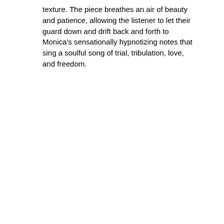texture. The piece breathes an air of beauty and patience, allowing the listener to let their guard down and drift back and forth to Monica's sensationally hypnotizing notes that sing a soulful song of trial, tribulation, love, and freedom.